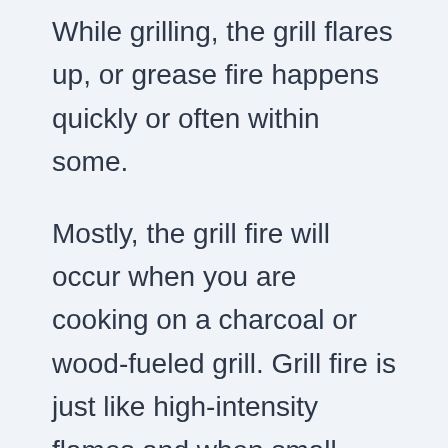While grilling, the grill flares up, or grease fire happens quickly or often within some.
Mostly, the grill fire will occur when you are cooking on a charcoal or wood-fueled grill. Grill fire is just like high-intensity flames and when small flames get out of control, then it changes into grease fire. It happens when there is a build-up grease and carbon that create a serious grease fire.
Grills come with drip pans and trays that are located under its grids. Grease fire occurs when the drip pans are filled up and oil is